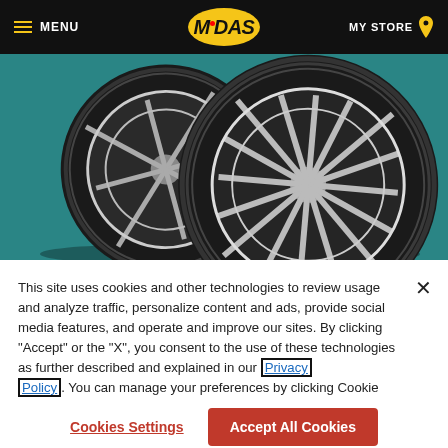MENU | MIDAS | MY STORE
[Figure (photo): Two black car tires with chrome alloy wheels leaning against each other on a teal background]
This site uses cookies and other technologies to review usage and analyze traffic, personalize content and ads, provide social media features, and operate and improve our sites. By clicking "Accept" or the "X", you consent to the use of these technologies as further described and explained in our Privacy Policy. You can manage your preferences by clicking Cookie Settings.
Cookies Settings
Accept All Cookies